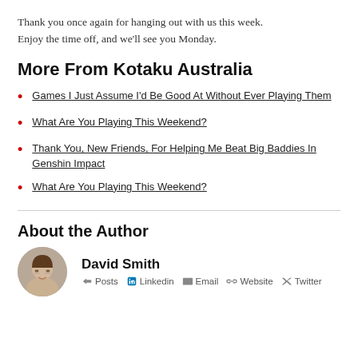Thank you once again for hanging out with us this week. Enjoy the time off, and we'll see you Monday.
More From Kotaku Australia
Games I Just Assume I'd Be Good At Without Ever Playing Them
What Are You Playing This Weekend?
Thank You, New Friends, For Helping Me Beat Big Baddies In Genshin Impact
What Are You Playing This Weekend?
About the Author
David Smith
Posts  Linkedin  Twitter  Email  Website